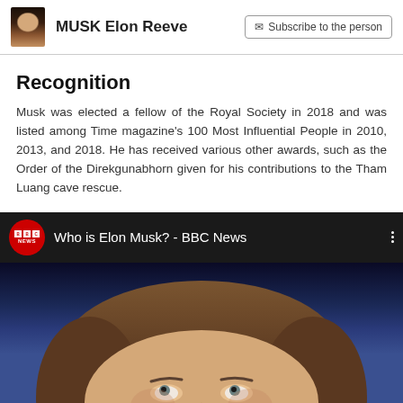MUSK Elon Reeve | Subscribe to the person
Recognition
Musk was elected a fellow of the Royal Society in 2018 and was listed among Time magazine's 100 Most Influential People in 2010, 2013, and 2018. He has received various other awards, such as the Order of the Direkgunabhorn given for his contributions to the Tham Luang cave rescue.
[Figure (screenshot): YouTube video embed showing BBC News video titled 'Who is Elon Musk? - BBC News' with BBC News red circle logo and thumbnail showing close-up of Elon Musk's face looking upward]